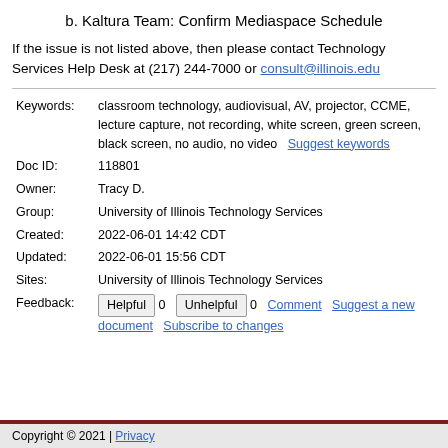b. Kaltura Team: Confirm Mediaspace Schedule
If the issue is not listed above, then please contact Technology Services Help Desk at (217) 244-7000 or consult@illinois.edu
| Keywords: | classroom technology, audiovisual, AV, projector, CCME, lecture capture, not recording, white screen, green screen, black screen, no audio, no video   Suggest keywords |
| Doc ID: | 118801 |
| Owner: | Tracy D. |
| Group: | University of Illinois Technology Services |
| Created: | 2022-06-01 14:42 CDT |
| Updated: | 2022-06-01 15:56 CDT |
| Sites: | University of Illinois Technology Services |
| Feedback: | Helpful 0   Unhelpful 0   Comment   Suggest a new document   Subscribe to changes |
Copyright © 2021 | Privacy